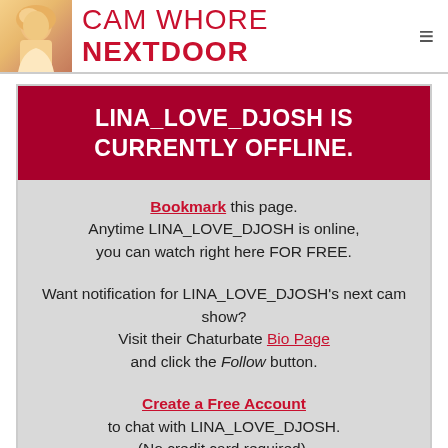CAM WHORE NEXTDOOR
LINA_LOVE_DJOSH IS CURRENTLY OFFLINE.
Bookmark this page. Anytime LINA_LOVE_DJOSH is online, you can watch right here FOR FREE.
Want notification for LINA_LOVE_DJOSH's next cam show? Visit their Chaturbate Bio Page and click the Follow button.
Create a Free Account to chat with LINA_LOVE_DJOSH. (No credit card required).